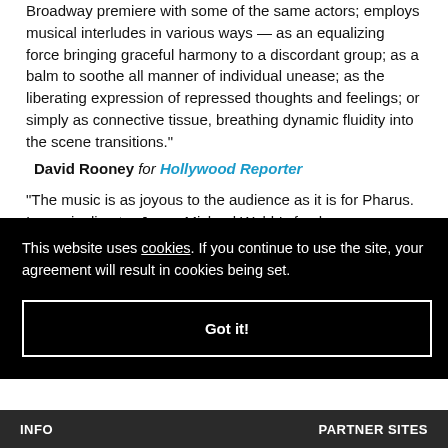Broadway premiere with some of the same actors; employs musical interludes in various ways — as an equalizing force bringing graceful harmony to a discordant group; as a balm to soothe all manner of individual unease; as the liberating expression of repressed thoughts and feelings; or simply as connective tissue, breathing dynamic fluidity into the scene transitions."
David Rooney for Hollywood Reporter
"The music is as joyous to the audience as it is for Pharus. In music director Jason Michael Webb's fresh
but
This website uses cookies. If you continue to use the site, your agreement will result in cookies being set.
Got it!
INFO   PARTNER SITES